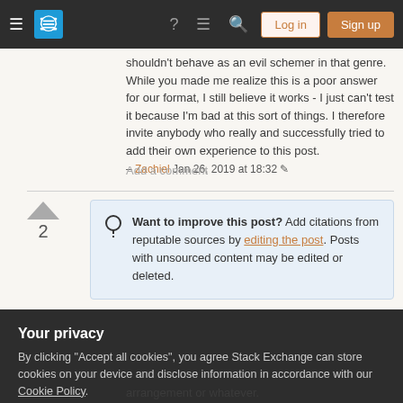Stack Exchange navigation bar with Log in and Sign up buttons
shouldn't behave as an evil schemer in that genre. While you made me realize this is a poor answer for our format, I still believe it works - I just can't test it because I'm bad at this sort of things. I therefore invite anybody who really and successfully tried to add their own experience to this post.
– Zachiel Jan 26, 2019 at 18:32
Add a comment
Want to improve this post? Add citations from reputable sources by editing the post. Posts with unsourced content may be edited or deleted.
Your privacy
By clicking "Accept all cookies", you agree Stack Exchange can store cookies on your device and disclose information in accordance with our Cookie Policy.
Accept all cookies   Customize settings
arrangement or whatever.